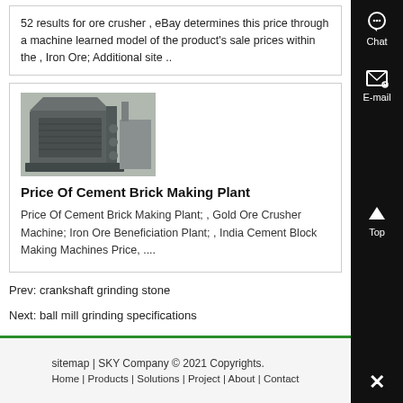52 results for ore crusher , eBay determines this price through a machine learned model of the product's sale prices within the , Iron Ore; Additional site ..
[Figure (photo): Industrial ore crusher or screening machine on a factory floor]
Price Of Cement Brick Making Plant
Price Of Cement Brick Making Plant; , Gold Ore Crusher Machine; Iron Ore Beneficiation Plant; , India Cement Block Making Machines Price, ....
Prev: crankshaft grinding stone
Next: ball mill grinding specifications
sitemap | SKY Company © 2021 Copyrights.
Home | Products | Solutions | Project | About | Contact